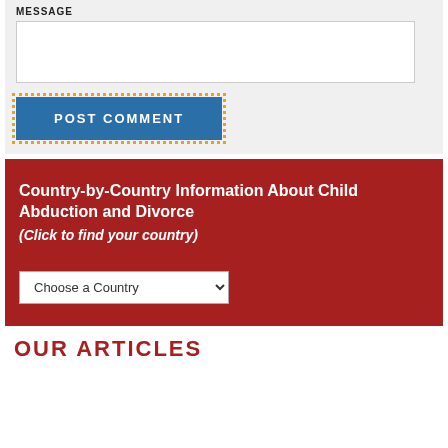MESSAGE
[Figure (screenshot): Text area input box for message, with resize handle in bottom-right corner]
POST COMMENT
Country-by-Country Information About Child Abduction and Divorce
(Click to find your country)
[Figure (screenshot): Dropdown select element labeled 'Choose a Country']
OUR ARTICLES